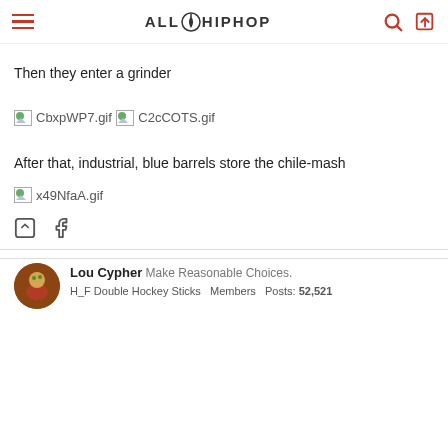ALL HIP HOP
Then they enter a grinder
[Figure (other): Broken/missing image placeholder labeled CbxpWP7.gif]
[Figure (other): Broken/missing image placeholder labeled C2cCOTS.gif]
After that, industrial, blue barrels store the chile-mash
[Figure (other): Broken/missing image placeholder labeled x49NfaA.gif]
Lou Cypher   Make Reasonable Choices.
H_F Double Hockey Sticks  Members  Posts: 52,521